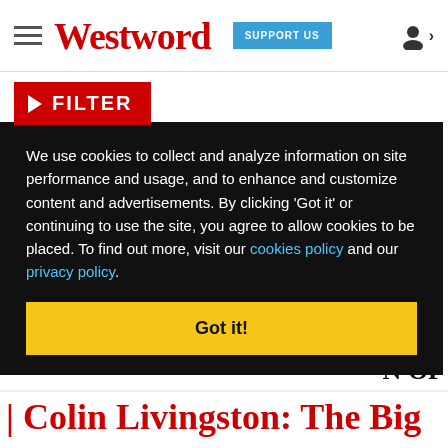Westword — SUPPORT US
▶ FILTER
We use cookies to collect and analyze information on site performance and usage, and to enhance and customize content and advertisements. By clicking 'Got it' or continuing to use the site, you agree to allow cookies to be placed. To find out more, visit our cookies policy and our privacy policy.
Got it!
of his
). It
 the
 extra
N OF
Colin Livingston: The Big